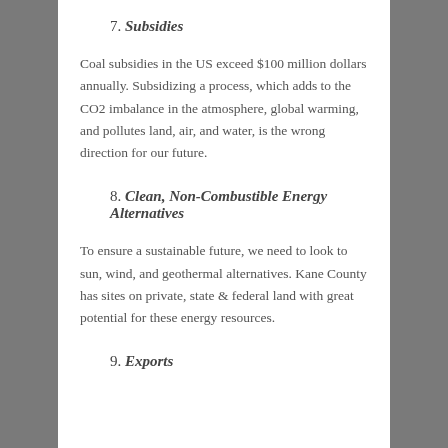7. Subsidies
Coal subsidies in the US exceed $100 million dollars annually. Subsidizing a process, which adds to the CO2 imbalance in the atmosphere, global warming, and pollutes land, air, and water, is the wrong direction for our future.
8. Clean, Non-Combustible Energy Alternatives
To ensure a sustainable future, we need to look to sun, wind, and geothermal alternatives. Kane County has sites on private, state & federal land with great potential for these energy resources.
9. Exports